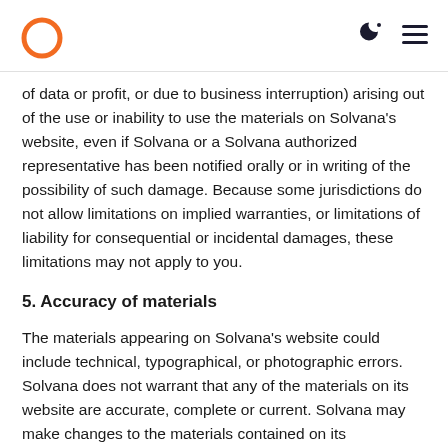Solvana logo, moon icon, hamburger menu
of data or profit, or due to business interruption) arising out of the use or inability to use the materials on Solvana's website, even if Solvana or a Solvana authorized representative has been notified orally or in writing of the possibility of such damage. Because some jurisdictions do not allow limitations on implied warranties, or limitations of liability for consequential or incidental damages, these limitations may not apply to you.
5. Accuracy of materials
The materials appearing on Solvana's website could include technical, typographical, or photographic errors. Solvana does not warrant that any of the materials on its website are accurate, complete or current. Solvana may make changes to the materials contained on its